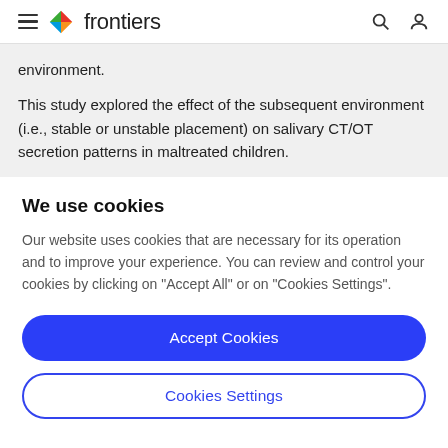frontiers
environment.
This study explored the effect of the subsequent environment (i.e., stable or unstable placement) on salivary CT/OT secretion patterns in maltreated children.
We use cookies
Our website uses cookies that are necessary for its operation and to improve your experience. You can review and control your cookies by clicking on "Accept All" or on "Cookies Settings".
Accept Cookies
Cookies Settings